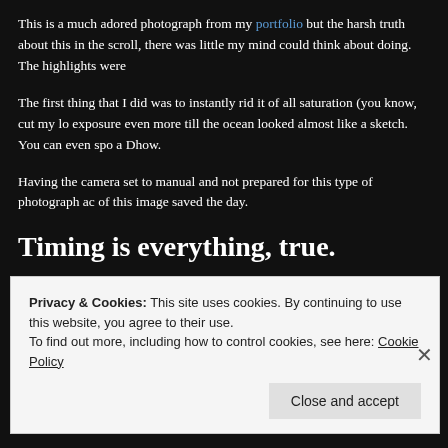This is a much adored photograph from my portfolio but the harsh truth about this in the scroll, there was little my mind could think about doing. The highlights were
The first thing that I did was to instantly rid it of all saturation (you know, cut my lo exposure even more till the ocean looked almost like a sketch. You can even spo a Dhow.
Having the camera set to manual and not prepared for this type of photograph ac of this image saved the day.
Timing is everything, true.
There's no getting away from it. Your shutter release has got to be absolutely on photograph which could.
Privacy & Cookies: This site uses cookies. By continuing to use this website, you agree to their use.
To find out more, including how to control cookies, see here: Cookie Policy